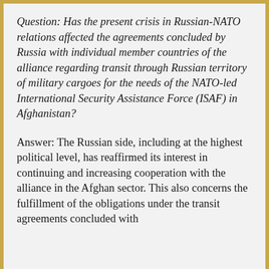Question: Has the present crisis in Russian-NATO relations affected the agreements concluded by Russia with individual member countries of the alliance regarding transit through Russian territory of military cargoes for the needs of the NATO-led International Security Assistance Force (ISAF) in Afghanistan?
Answer: The Russian side, including at the highest political level, has reaffirmed its interest in continuing and increasing cooperation with the alliance in the Afghan sector. This also concerns the fulfillment of the obligations under the transit agreements concluded with